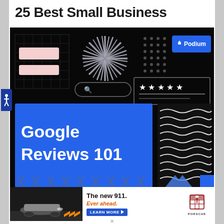25 Best Small Business
[Figure (illustration): Dark-themed promotional image for Podium's Google Reviews 101 guide. Contains a grid pattern, pink rectangles, starburst graphic, dot grid, Podium blue button, star rating box, search bar, large blue box with 'Google Reviews 101' text, wavy lines pattern, X marks, and triangular shapes on black background.]
[Figure (photo): Porsche 911 advertisement banner showing a silver Porsche 911 driving on a road with orange chevrons. Text reads 'The new 911. Ever ahead.' with a LEARN MORE button and Porsche logo.]